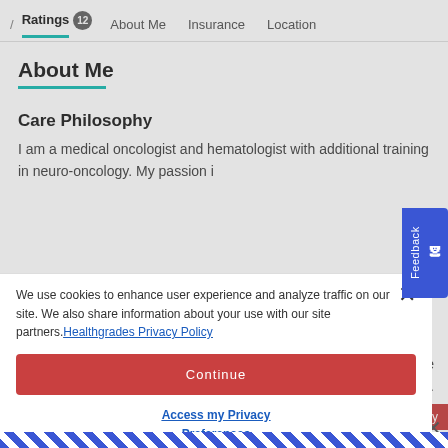/ Ratings 12  About Me  Insurance  Location
About Me
Care Philosophy
I am a medical oncologist and hematologist with additional training in neuro-oncology. My passion i
We use cookies to enhance user experience and analyze traffic on our site. We also share information about your use with our site partners. Healthgrades Privacy Policy
Continue
Access my Privacy Preferences
npact the
ssed.
rs Today
Feedback